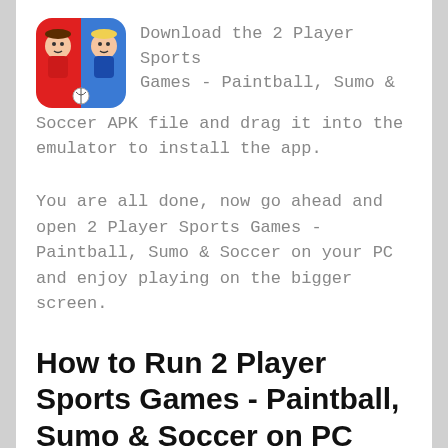[Figure (illustration): App icon for 2 Player Sports Games - Paintball, Sumo & Soccer, showing two cartoon characters on a red and blue split background]
Download the 2 Player Sports Games - Paintball, Sumo & Soccer APK file and drag it into the emulator to install the app.
You are all done, now go ahead and open 2 Player Sports Games - Paintball, Sumo & Soccer on your PC and enjoy playing on the bigger screen.
How to Run 2 Player Sports Games - Paintball, Sumo & Soccer on PC without Emulator